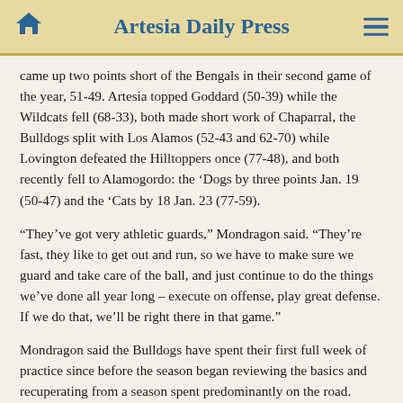Artesia Daily Press
came up two points short of the Bengals in their second game of the year, 51-49. Artesia topped Goddard (50-39) while the Wildcats fell (68-33), both made short work of Chaparral, the Bulldogs split with Los Alamos (52-43 and 62-70) while Lovington defeated the Hilltoppers once (77-48), and both recently fell to Alamogordo: the ‘Dogs by three points Jan. 19 (50-47) and the ‘Cats by 18 Jan. 23 (77-59).
“They’ve got very athletic guards,” Mondragon said. “They’re fast, they like to get out and run, so we have to make sure we guard and take care of the ball, and just continue to do the things we’ve done all year long – execute on offense, play great defense. If we do that, we’ll be right there in that game.”
Mondragon said the Bulldogs have spent their first full week of practice since before the season began reviewing the basics and recuperating from a season spent predominantly on the road.
“The biggest thing for us right now is just fundamentals,” said the coach. “It’s always nice to have practice; we haven’t had any, and that’s the biggest thing. We had such a brutal schedule and such a road-heavy schedule this year that we haven’t really had a lot of time to just focus on us, so the last four days have